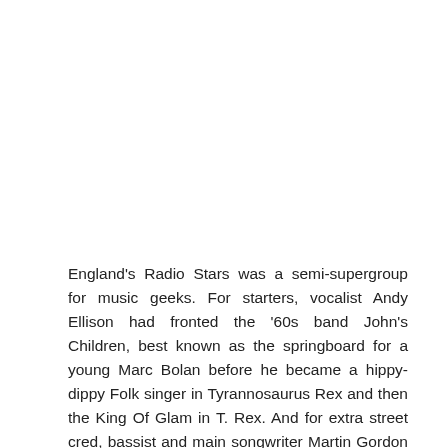England's Radio Stars was a semi-supergroup for music geeks. For starters, vocalist Andy Ellison had fronted the '60s band John's Children, best known as the springboard for a young Marc Bolan before he became a hippy-dippy Folk singer in Tyrannosaurus Rex and then the King Of Glam in T. Rex. And for extra street cred, bassist and main songwriter Martin Gordon had once played beside the Mael Brothers in Sparks. Add in drummer Chris Townson and guitarist Ian MacLeod and you've got the first line-up of the band (the drummer's seat would be revolving during the band's short tenure). Incidentally, Ellison, Gordon and Townson had